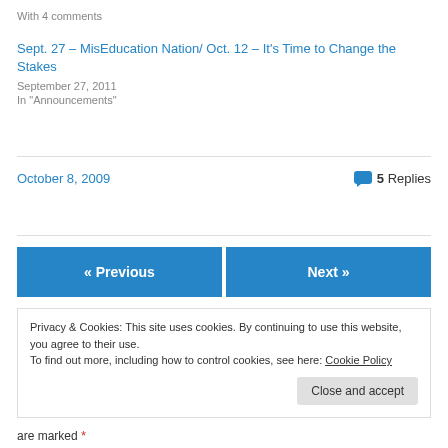With 4 comments
Sept. 27 – MisEducation Nation/ Oct. 12 – It's Time to Change the Stakes
September 27, 2011
In "Announcements"
October 8, 2009
5 Replies
« Previous
Next »
Privacy & Cookies: This site uses cookies. By continuing to use this website, you agree to their use.
To find out more, including how to control cookies, see here: Cookie Policy
Close and accept
are marked *